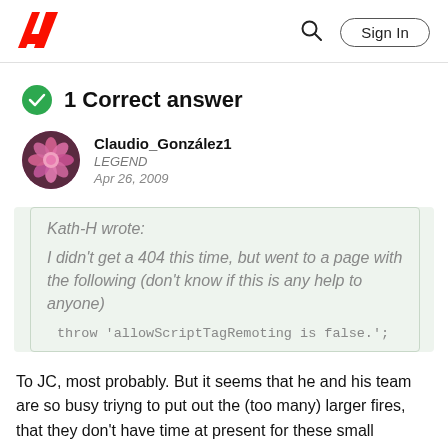Adobe | Sign In
1 Correct answer
Claudio_González1
LEGEND
Apr 26, 2009
Kath-H wrote:
I didn't get a 404 this time, but went to a page with the following (don't know if this is any help to anyone)
throw 'allowScriptTagRemoting is false.';
To JC, most probably. But it seems that he and his team are so busy triyng to put out the (too many) larger fires, that they don't have time at present for these small